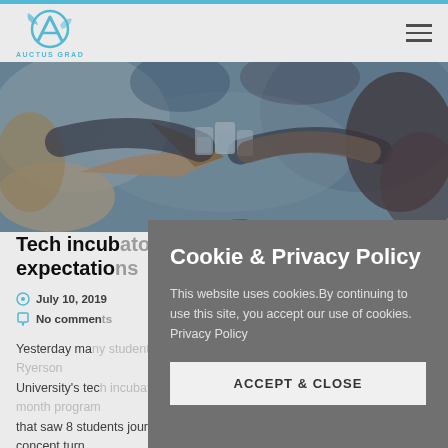AUCTUS GRAD
[Figure (photo): People clinking glasses together in a social celebration setting, viewed from above]
Tech incubator exceeds expectations
July 10, 2019
No comments
Yesterday many students graduated from Ryerson University's tech incubator program. A 12-month program that saw 8 students journey to proof the concept turn
Cookie & Privacy Policy

This website uses cookies.By continuing to use this site, you accept our use of cookies. Privacy Policy

ACCEPT & CLOSE